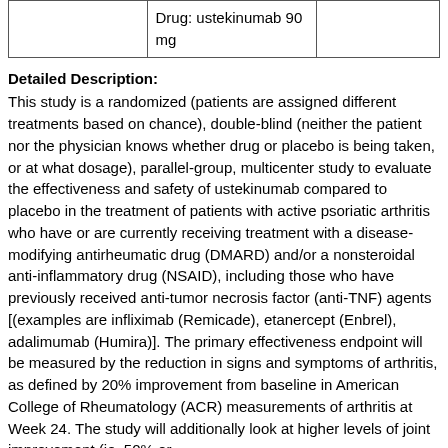|  |  |  |
| --- | --- | --- |
|  | Drug: ustekinumab 90 mg |  |
Detailed Description:
This study is a randomized (patients are assigned different treatments based on chance), double-blind (neither the patient nor the physician knows whether drug or placebo is being taken, or at what dosage), parallel-group, multicenter study to evaluate the effectiveness and safety of ustekinumab compared to placebo in the treatment of patients with active psoriatic arthritis who have or are currently receiving treatment with a disease-modifying antirheumatic drug (DMARD) and/or a nonsteroidal anti-inflammatory drug (NSAID), including those who have previously received anti-tumor necrosis factor (anti-TNF) agents [(examples are infliximab (Remicade), etanercept (Enbrel), adalimumab (Humira)]. The primary effectiveness endpoint will be measured by the reduction in signs and symptoms of arthritis, as defined by 20% improvement from baseline in American College of Rheumatology (ACR) measurements of arthritis at Week 24. The study will additionally look at higher levels of joint improvement (ie, 50% or